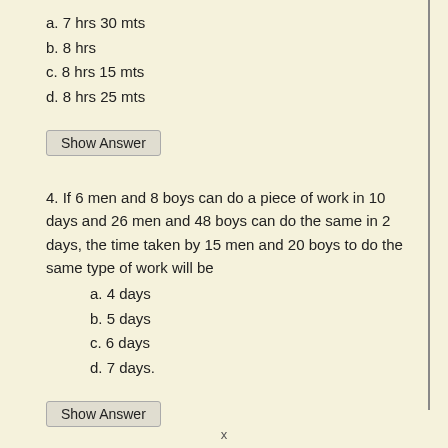a. 7 hrs 30 mts
b. 8 hrs
c. 8 hrs 15 mts
d. 8 hrs 25 mts
Show Answer
4. If 6 men and 8 boys can do a piece of work in 10 days and 26 men and 48 boys can do the same in 2 days, the time taken by 15 men and 20 boys to do the same type of work will be
a. 4 days
b. 5 days
c. 6 days
d. 7 days.
Show Answer
5. A and B can do a work in 18 and 24 days respectively. They worked together for 8 days and then A left. The remaining work was finished by B in:
x